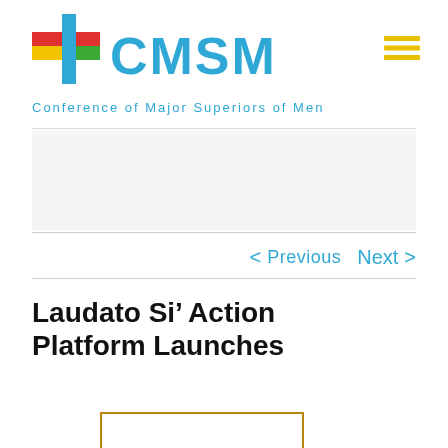[Figure (logo): CMSM (Conference of Major Superiors of Men) logo with colorful cross and blue CMSM text]
Conference of Major Superiors of Men
[Figure (other): Hamburger menu icon (three horizontal yellow lines)]
< Previous   Next >
Laudato Si' Action Platform Launches
[Figure (other): Partial image with tan/gold border at the bottom of the page]